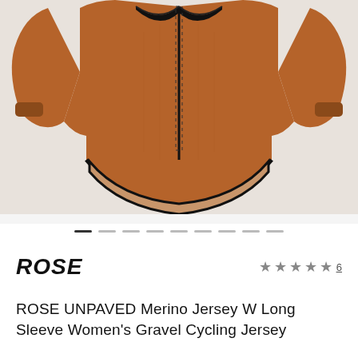[Figure (photo): Burnt orange/rust colored long-sleeve women's cycling jersey with black zipper and black hem trim, shown flat lay from front on light gray background]
● ─ ─ ─ ─ ─ ─ ─ ─ ─ (carousel navigation dots)
ROSE
★★★★★ 6
ROSE UNPAVED Merino Jersey W Long Sleeve Women's Gravel Cycling Jersey